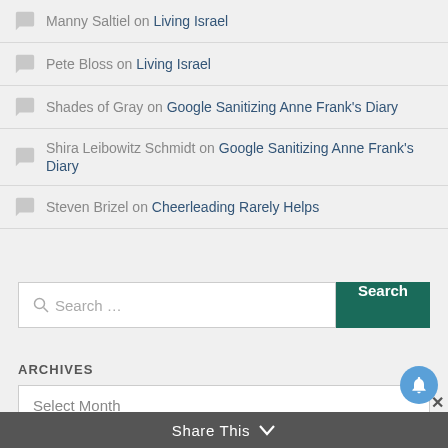Manny Saltiel on Living Israel
Pete Bloss on Living Israel
Shades of Gray on Google Sanitizing Anne Frank's Diary
Shira Leibowitz Schmidt on Google Sanitizing Anne Frank's Diary
Steven Brizel on Cheerleading Rarely Helps
Search ...
ARCHIVES
Select Month
Share This